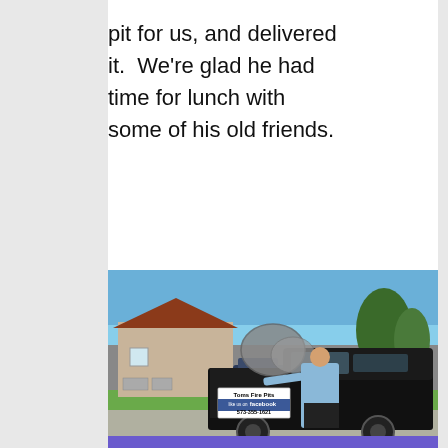pit for us, and delivered it.  We're glad he had time for lunch with some of his old friends.
[Figure (photo): A man in a light blue shirt stands next to a black pickup truck in a parking lot. The truck bed contains a large metal fire pit sculpture. The truck has a sign reading 'Toms Fire Pits, like us on facebook, 573-355-1621'. A stone building and trees are visible in the background.]